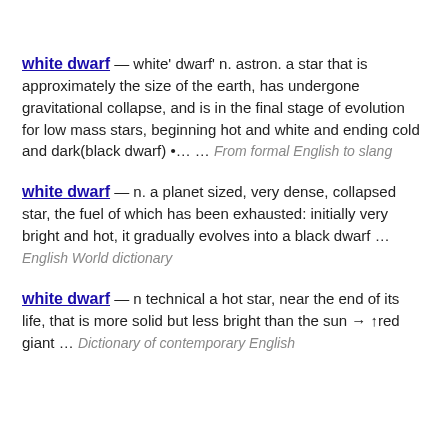white dwarf — white' dwarf' n. astron. a star that is approximately the size of the earth, has undergone gravitational collapse, and is in the final stage of evolution for low mass stars, beginning hot and white and ending cold and dark(black dwarf) •… … From formal English to slang
white dwarf — n. a planet sized, very dense, collapsed star, the fuel of which has been exhausted: initially very bright and hot, it gradually evolves into a black dwarf … English World dictionary
white dwarf — n technical a hot star, near the end of its life, that is more solid but less bright than the sun → ↑red giant … Dictionary of contemporary English